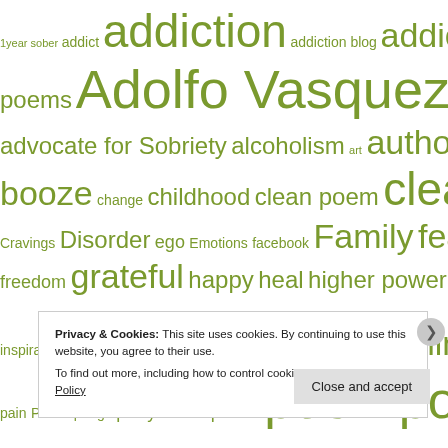[Figure (infographic): Tag/word cloud with olive/green colored words of varying sizes related to addiction, sobriety, poetry. Words include: 1year sober, addict, addiction, addiction blog, addiction poems, Adolfo Vasquez, Adolfo Vasquez poet, advice, advocate for Sobriety, alcoholism, art, author, aware, blog, body, book, booze, change, childhood, clean poem, clean poems, courage, Cravings, Disorder, ego, Emotions, facebook, Family, fear, feel, film, forgive, freedom, grateful, happy, heal, higher power, hope, human, hurt, inspiration poems, inspire, joy, lesson, life, love, mind, mindfulness, pain, Palm springs, party sober, peace, poem, poems, poet, p..., s...]
Privacy & Cookies: This site uses cookies. By continuing to use this website, you agree to their use. To find out more, including how to control cookies, see here: Cookie Policy
Close and accept